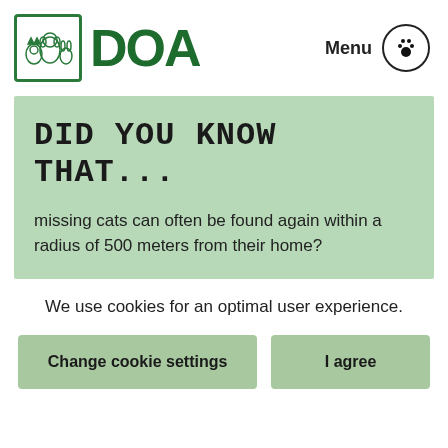[Figure (logo): DOA logo with animal silhouettes (cat, dog, rabbit) in a green-bordered box, followed by bold green text 'DOA']
Menu
DID YOU KNOW THAT...
missing cats can often be found again within a radius of 500 meters from their home?
We use cookies for an optimal user experience.
Change cookie settings
I agree